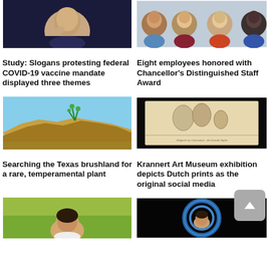[Figure (photo): Portrait photo of a person in dark clothing against dark background]
[Figure (photo): Group photo of eight employees honored with Chancellor's Distinguished Staff Award]
Study: Slogans protesting federal COVID-19 vaccine mandate displayed three themes
Eight employees honored with Chancellor's Distinguished Staff Award
[Figure (photo): Photo of Texas brushland rocky terrain with desert vegetation and blue sky]
[Figure (photo): Black and white Dutch etching/print showing figures, described as original social media]
Searching the Texas brushland for a rare, temperamental plant
Krannert Art Museum exhibition depicts Dutch prints as the original social media
[Figure (photo): Portrait of a young man outdoors with greenery background]
[Figure (photo): Photo of a person in front of a blue circular/dome structure]